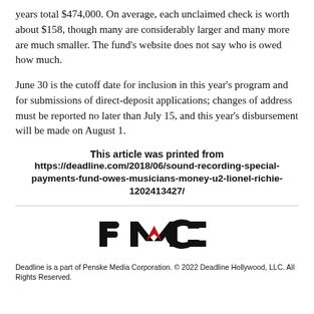years total $474,000. On average, each unclaimed check is worth about $158, though many are considerably larger and many more are much smaller. The fund's website does not say who is owed how much.
June 30 is the cutoff date for inclusion in this year's program and for submissions of direct-deposit applications; changes of address must be reported no later than July 15, and this year's disbursement will be made on August 1.
This article was printed from https://deadline.com/2018/06/sound-recording-special-payments-fund-owes-musicians-money-u2-lionel-richie-1202413427/
[Figure (logo): PMC (Penske Media Corporation) logo — stylized letter P, M with a red chevron accent, and C in bold black]
Deadline is a part of Penske Media Corporation. © 2022 Deadline Hollywood, LLC. All Rights Reserved.